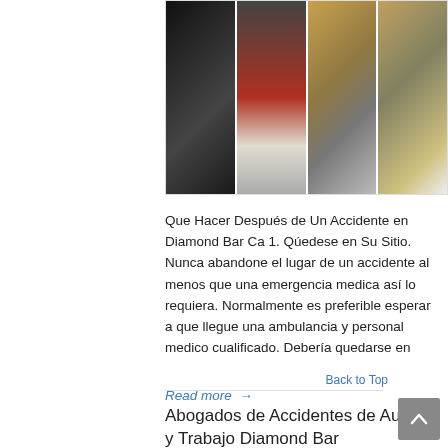[Figure (photo): Collage of four accident photos: car crash (damaged vehicle), bicycle accident on red bike lane, and two views of a fallen worker in hard hat.]
Que Hacer Después de Un Accidente en Diamond Bar Ca 1. Qúedese en Su Sitio. Nunca abandone el lugar de un accidente al menos que una emergencia medica así lo requiera. Normalmente es preferible esperar a que llegue una ambulancia y personal medico cualificado. Debería quedarse en
Read more →
Back to Top
Abogados de Accidentes de Auto y Trabajo Diamond Bar